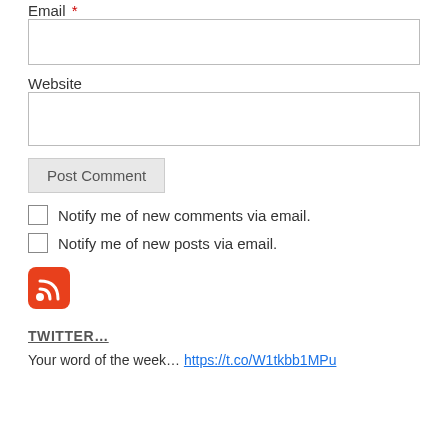Email *
Website
Post Comment
Notify me of new comments via email.
Notify me of new posts via email.
[Figure (logo): RSS feed icon — red rounded square with white RSS signal waves]
TWITTER...
Your word of the week… https://t.co/W1tkbb1MPu